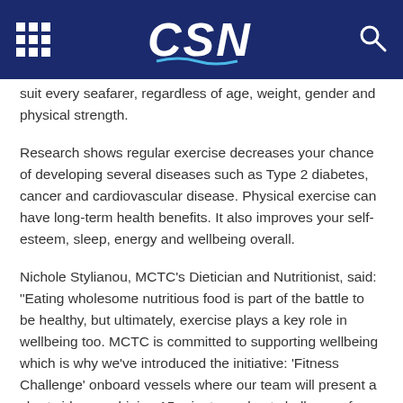CSN
suit every seafarer, regardless of age, weight, gender and physical strength.
Research shows regular exercise decreases your chance of developing several diseases such as Type 2 diabetes, cancer and cardiovascular disease. Physical exercise can have long-term health benefits. It also improves your self-esteem, sleep, energy and wellbeing overall.
Nichole Stylianou, MCTC's Dietician and Nutritionist, said: "Eating wholesome nutritious food is part of the battle to be healthy, but ultimately, exercise plays a key role in wellbeing too. MCTC is committed to supporting wellbeing which is why we've introduced the initiative: 'Fitness Challenge' onboard vessels where our team will present a short video combining 15-minute workout challenges for crew to participate in. We want crew to take up the challenge and stay activ